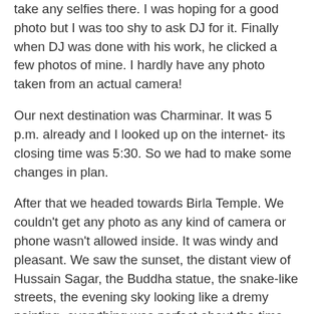take any selfies there. I was hoping for a good photo but I was too shy to ask DJ for it. Finally when DJ was done with his work, he clicked a few photos of mine. I hardly have any photo taken from an actual camera!
Our next destination was Charminar. It was 5 p.m. already and I looked up on the internet- its closing time was 5:30. So we had to make some changes in plan.
After that we headed towards Birla Temple. We couldn't get any photo as any kind of camera or phone wasn't allowed inside. It was windy and pleasant. We saw the sunset, the distant view of Hussain Sagar, the Buddha statue, the snake-like streets, the evening sky looking like a dremy painting- everything was perfect about the time. We sat there and talked about life and relaxed. I don't remember having a good time like this lately.
DJ had to buy something for his girlfriend and he wanted me to help him select those. We hired an auto to go to Charminar (the market). After hearing our